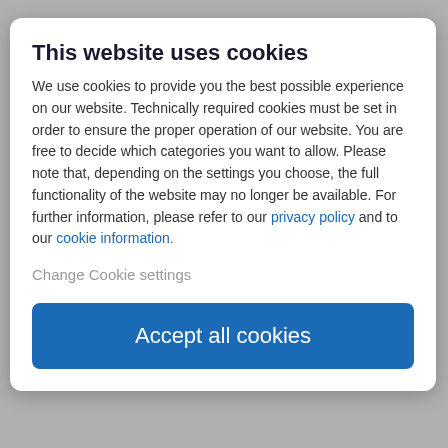This website uses cookies
We use cookies to provide you the best possible experience on our website. Technically required cookies must be set in order to ensure the proper operation of our website. You are free to decide which categories you want to allow. Please note that, depending on the settings you choose, the full functionality of the website may no longer be available. For further information, please refer to our privacy policy and to our cookie information.
Change Cookie settings
Accept all cookies